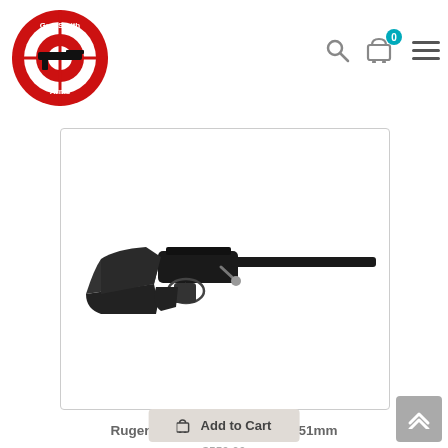[Figure (logo): Gun Smith Arms logo — red target/crosshair with gun silhouette, bold text 'Gun Smith Arms']
[Figure (photo): Ruger American bolt-action rifle in .308/7.62x51mm, black synthetic stock, dark barrel, shown in profile against white background]
Ruger - American - .308|7.62x51mm
$559.00 (original price, struck through)
$472.77
Add to Cart